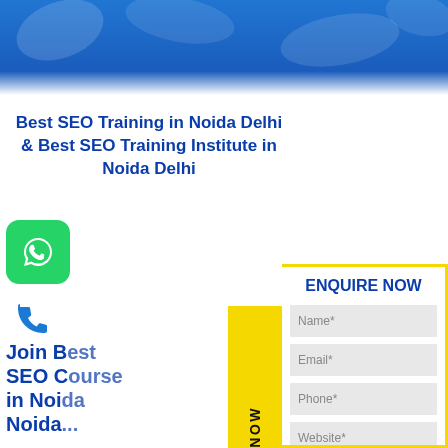[Figure (illustration): Blue banner with decorative marketing icons at the top of the page]
Best SEO Training in Noida Delhi & Best SEO Training Institute in Noida Delhi
[Figure (illustration): WhatsApp green icon with phone handset]
[Figure (illustration): Blue phone/call icon]
Join Best SEO Course in Noida Noida...
Search Engine... marketing te... companies to... to your websi...
ENQUIRE NOW (vertical yellow tab)
ENQUIRE NOW
Name*
Email*
Phone*
Website*